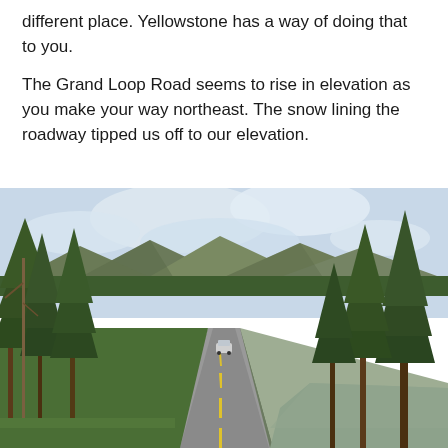different place. Yellowstone has a way of doing that to you.
The Grand Loop Road seems to rise in elevation as you make your way northeast. The snow lining the roadway tipped us off to our elevation.
[Figure (photo): A road (Grand Loop Road) stretching into the distance through a dense evergreen forest in Yellowstone, with snow visible on the roadside, mountains in the background, and a car ahead on the two-lane highway under a partly cloudy sky.]